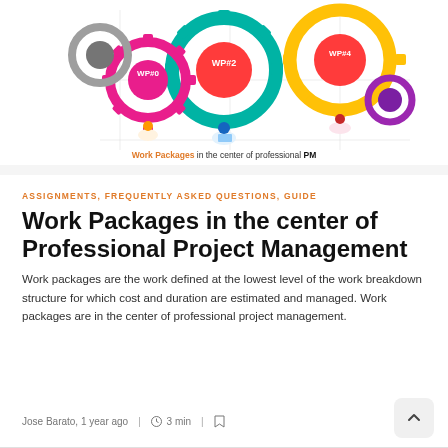[Figure (illustration): Colorful interlocking gear illustration featuring multiple work packages labeled WP#0, WP#2, WP#4, with people working around them. Caption reads 'Work Packages in the center of professional PM' with 'Work Packages' highlighted in orange.]
ASSIGNMENTS, FREQUENTLY ASKED QUESTIONS, GUIDE
Work Packages in the center of Professional Project Management
Work packages are the work defined at the lowest level of the work breakdown structure for which cost and duration are estimated and managed. Work packages are in the center of professional project management.
Jose Barato, 1 year ago  |  ⏱ 3 min  |  🔖